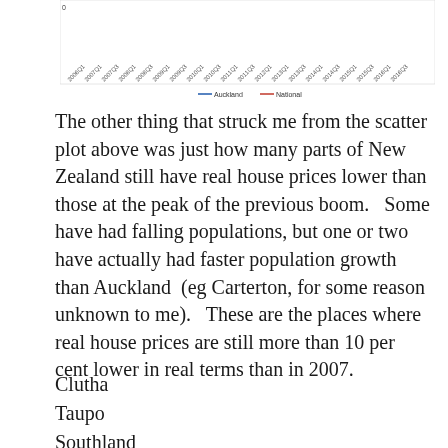[Figure (continuous-plot): A line chart showing Auckland and National house price trends over time from approximately 2006Q1 to 2016Q3. The x-axis shows quarterly dates (rotated labels), y-axis starts at 0. Two lines: Auckland (blue) and National (orange/red). Legend at bottom center shows both series.]
The other thing that struck me from the scatter plot above was just how many parts of New Zealand still have real house prices lower than those at the peak of the previous boom.   Some have had falling populations, but one or two have actually had faster population growth than Auckland  (eg Carterton, for some reason unknown to me).   These are the places where real house prices are still more than 10 per cent lower in real terms than in 2007.
Clutha
Taupo
Southland